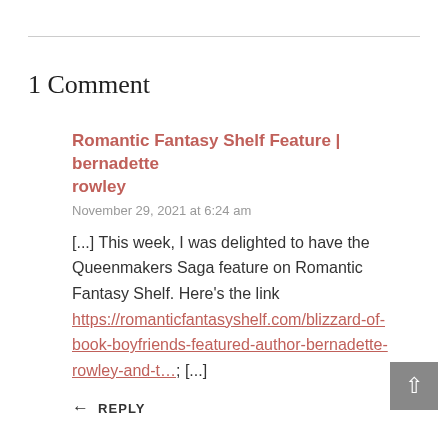1 Comment
Romantic Fantasy Shelf Feature | bernadette rowley
November 29, 2021 at 6:24 am
[...] This week, I was delighted to have the Queenmakers Saga feature on Romantic Fantasy Shelf. Here’s the link https://romanticfantasyshelf.com/blizzard-of-book-boyfriends-featured-author-bernadette-rowley-and-t&#8230; [...]
REPLY